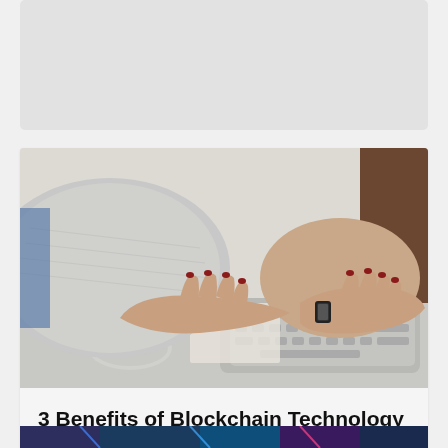[Figure (photo): Top portion of a card or article layout, showing a light grey placeholder/image area at the top of the page.]
[Figure (photo): Close-up photo of a woman's hands with red nail polish typing on a white/grey keyboard, wearing a light grey knit sweater and a black wristband. A white mouse is visible in the background. The background is light and slightly blurred.]
3 Benefits of Blockchain Technology in Higher Education
[Figure (photo): Partial view of another article card at the bottom of the page, showing a dark/colorful image strip being cut off.]